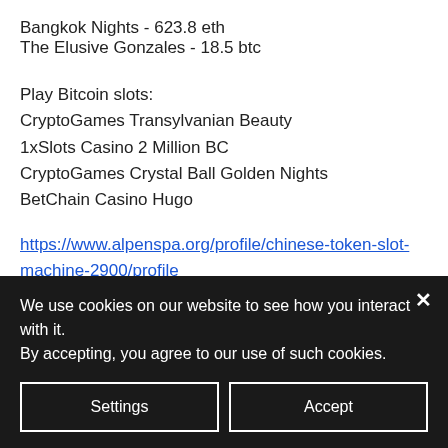Bangkok Nights - 623.8 eth
The Elusive Gonzales - 18.5 btc
Play Bitcoin slots:
CryptoGames Transylvanian Beauty
1xSlots Casino 2 Million BC
CryptoGames Crystal Ball Golden Nights
BetChain Casino Hugo
https://www.alpenspa.org/profile/chinese-token-slot-machine-2900/profile
https://www.grupoeeta.com/profile/best-bitcoin-slot-on-bet365-6513/profile
https://www.psychmaven.org/profile/25-free-
We use cookies on our website to see how you interact with it. By accepting, you agree to our use of such cookies.
Settings
Accept